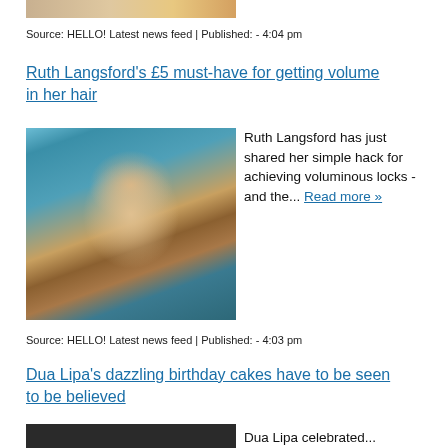[Figure (photo): Partial top image cropped at top of page]
Source: HELLO! Latest news feed | Published: - 4:04 pm
Ruth Langsford's £5 must-have for getting volume in her hair
[Figure (photo): Photo of Ruth Langsford smiling, wearing a teal blazer, with blonde highlighted bob haircut]
Ruth Langsford has just shared her simple hack for achieving voluminous locks - and the... Read more »
Source: HELLO! Latest news feed | Published: - 4:03 pm
Dua Lipa's dazzling birthday cakes have to be seen to be believed
[Figure (photo): Partial bottom photo of Dua Lipa, cropped at bottom of page]